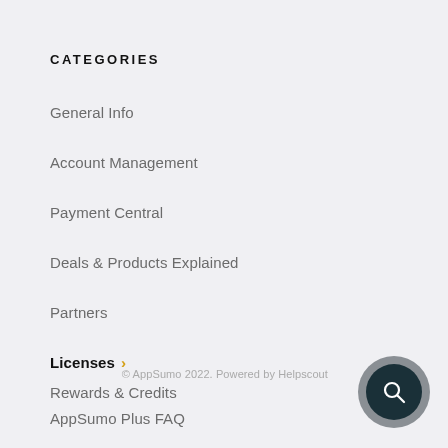CATEGORIES
General Info
Account Management
Payment Central
Deals & Products Explained
Partners
Licenses ›
Rewards & Credits
AppSumo Plus FAQ
© AppSumo 2022. Powered by Helpscout